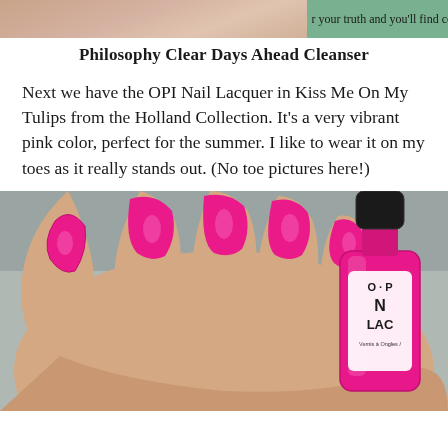[Figure (photo): Top portion of a previous blog post image – left side shows skin-toned product photo, right side shows green-tinted product with partial text 'r your truth and you'll find co']
Philosophy Clear Days Ahead Cleanser
Next we have the OPI Nail Lacquer in Kiss Me On My Tulips from the Holland Collection. It's a very vibrant pink color, perfect for the summer. I like to wear it on my toes as it really stands out. (No toe pictures here!)
[Figure (photo): A hand with hot pink nails holding an OPI Nail Lacquer bottle (NL LAC, Vernis à Ongles) in a vibrant pink/magenta color. The bottle cap is black. The nails are painted the same bright pink.]